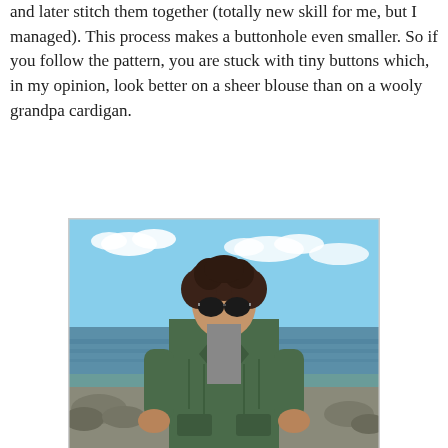and later stitch them together (totally new skill for me, but I managed). This process makes a buttonhole even smaller. So if you follow the pattern, you are stuck with tiny buttons which, in my opinion, look better on a sheer blouse than on a wooly grandpa cardigan.
[Figure (photo): A woman with short dark curly hair and sunglasses wearing a green cable-knit cardigan, standing outdoors near a body of water with rocks and blue sky with clouds in the background.]